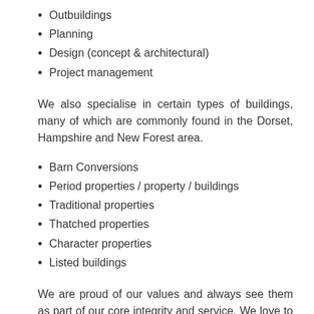Outbuildings
Planning
Design (concept & architectural)
Project management
We also specialise in certain types of buildings, many of which are commonly found in the Dorset, Hampshire and New Forest area.
Barn Conversions
Period properties / property / buildings
Traditional properties
Thatched properties
Character properties
Listed buildings
We are proud of our values and always see them as part of our core integrity and service. We love to conserve some of the beautiful, historic buildings within Dorset, Hampshire & the New Forest. Conservation is key to keeping the landscape as beautiful as it has been for hundreds of years.